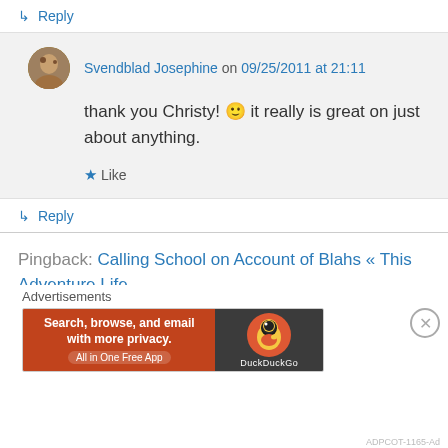↳ Reply
Svendblad Josephine on 09/25/2011 at 21:11
thank you Christy! 🙂 it really is great on just about anything.
★ Like
↳ Reply
Pingback: Calling School on Account of Blahs « This Adventure Life
Advertisements
[Figure (infographic): DuckDuckGo advertisement banner: orange left section with text 'Search, browse, and email with more privacy. All in One Free App', dark right section with DuckDuckGo duck logo]